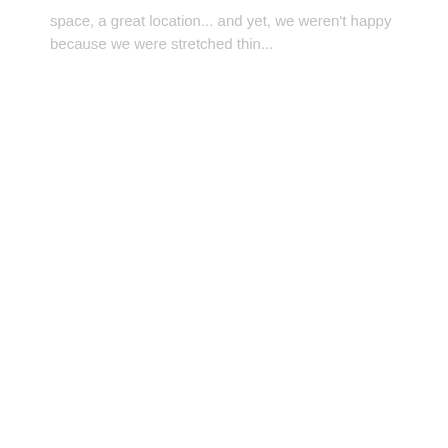space, a great location... and yet, we weren't happy because we were stretched thin...